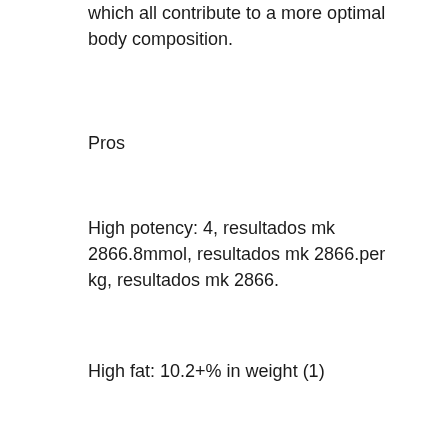which all contribute to a more optimal body composition.
Pros
High potency: 4, resultados mk 2866.8mmol, resultados mk 2866.per kg, resultados mk 2866.
High fat: 10.2+% in weight (1)
High protein: 18, mk 2866 resultados.9+% in wt
Cons
Low D-aspartic acid: 30 mg
Low glutamine: 12.3+% in weight (2)
Dependency